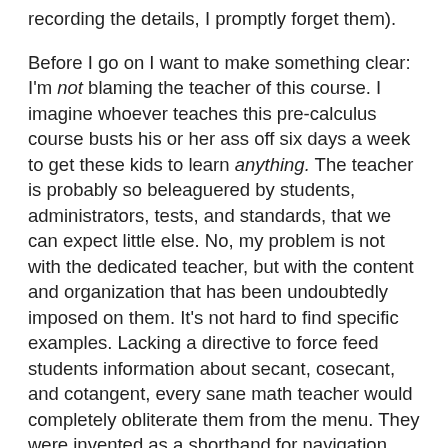recording the details, I promptly forget them).
Before I go on I want to make something clear: I'm not blaming the teacher of this course. I imagine whoever teaches this pre-calculus course busts his or her ass off six days a week to get these kids to learn anything. The teacher is probably so beleaguered by students, administrators, tests, and standards, that we can expect little else. No, my problem is not with the dedicated teacher, but with the content and organization that has been undoubtedly imposed on them. It's not hard to find specific examples. Lacking a directive to force feed students information about secant, cosecant, and cotangent, every sane math teacher would completely obliterate them from the menu. They were invented as a shorthand for navigation books hundreds of years in the past and have yet to find a reason to be in our